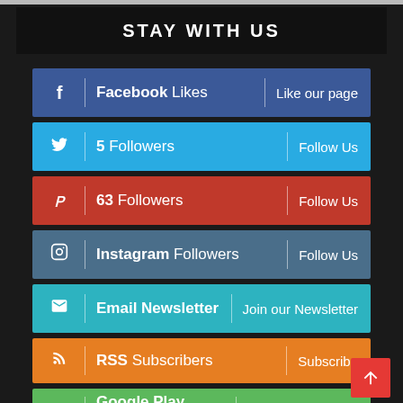STAY WITH US
Facebook Likes | Like our page
5 Followers | Follow Us
63 Followers | Follow Us
Instagram Followers | Follow Us
Email Newsletter | Join our Newsletter
RSS Subscribers | Subscribe
Google Play Android App | Download our App